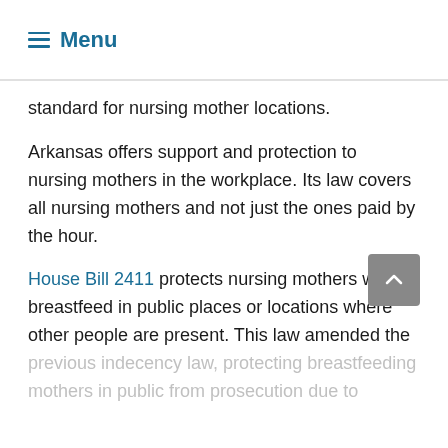≡ Menu
standard for nursing mother locations.
Arkansas offers support and protection to nursing mothers in the workplace. Its law covers all nursing mothers and not just the ones paid by the hour.
House Bill 2411 protects nursing mothers who breastfeed in public places or locations where other people are present. This law amended the previous indecency law, protecting breastfeeding mothers in public from prosecution due to